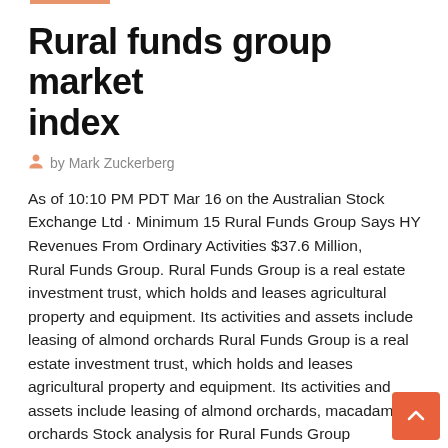Rural funds group market index
by Mark Zuckerberg
As of 10:10 PM PDT Mar 16 on the Australian Stock Exchange Ltd · Minimum 15 Rural Funds Group Says HY Revenues From Ordinary Activities $37.6 Million,
Rural Funds Group. Rural Funds Group is a real estate investment trust, which holds and leases agricultural property and equipment. Its activities and assets include leasing of almond orchards Rural Funds Group is a real estate investment trust, which holds and leases agricultural property and equipment. Its activities and assets include leasing of almond orchards, macadamia orchards Stock analysis for Rural Funds Group (RFF:ASE) including stock price, stock chart, company news, key statistics, fundamentals and company profile. b the latest RURAL FUNDS GROUP (RFNDF) stock quote, history, the latest for the stock data on the company and